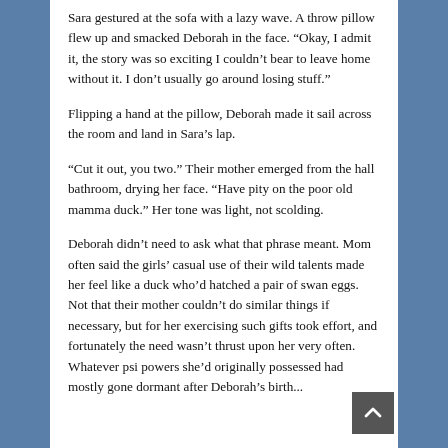Sara gestured at the sofa with a lazy wave. A throw pillow flew up and smacked Deborah in the face. “Okay, I admit it, the story was so exciting I couldn’t bear to leave home without it. I don’t usually go around losing stuff.”
Flipping a hand at the pillow, Deborah made it sail across the room and land in Sara’s lap.
“Cut it out, you two.” Their mother emerged from the hall bathroom, drying her face. “Have pity on the poor old mamma duck.” Her tone was light, not scolding.
Deborah didn’t need to ask what that phrase meant. Mom often said the girls’ casual use of their wild talents made her feel like a duck who’d hatched a pair of swan eggs. Not that their mother couldn’t do similar things if necessary, but for her exercising such gifts took effort, and fortunately the need wasn’t thrust upon her very often. Whatever psi powers she’d originally possessed had mostly gone dormant after Deborah’s birth...